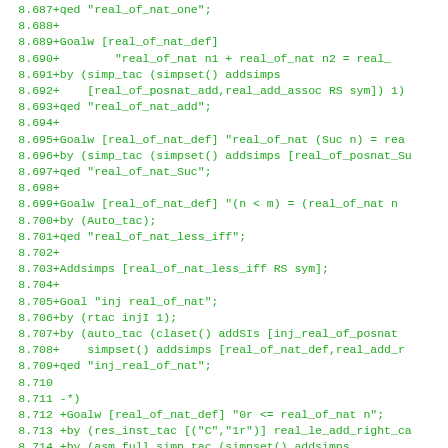[Figure (screenshot): Source code listing in monospace green font on white background, showing HOL theorem prover proof script lines 8.687 through 8.718+, with line numbers on the left and code content on the right.]